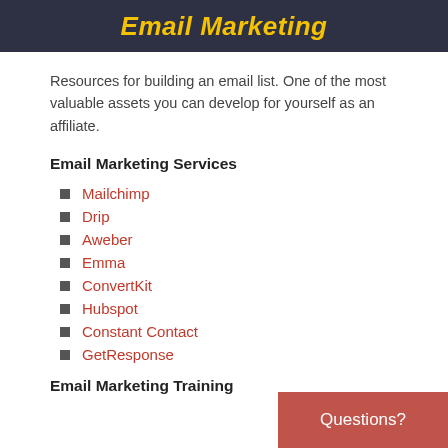Email Marketing
Resources for building an email list. One of the most valuable assets you can develop for yourself as an affiliate.
Email Marketing Services
Mailchimp
Drip
Aweber
Emma
ConvertKit
Hubspot
Constant Contact
GetResponse
Email Marketing Training
Questions?